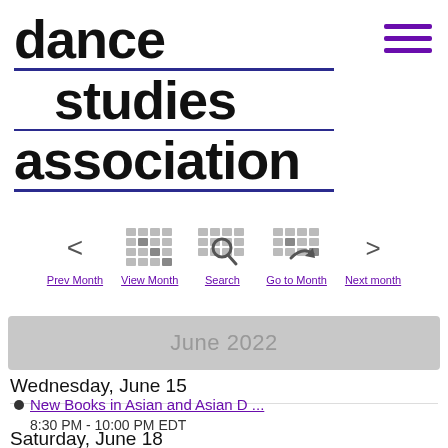dance studies association
[Figure (screenshot): Navigation bar with Prev Month, View Month, Search, Go to Month, Next month icons and labels]
June 2022
Wednesday, June 15
New Books in Asian and Asian D ...
8:30 PM - 10:00 PM EDT
Saturday, June 18